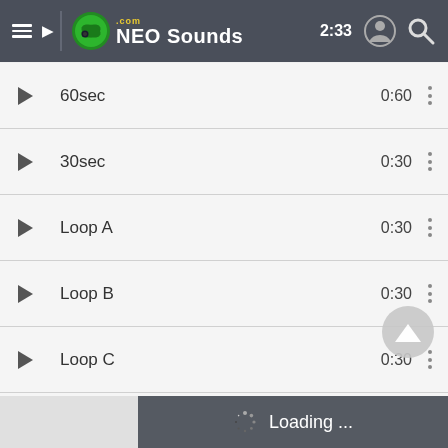NEO Sounds .com — 2:33
60sec — 0:60
30sec — 0:30
Loop A — 0:30
Loop B — 0:30
Loop C — 0:30
Stinger/Ident A — 0:09
Stinger/Ident B — 0:06
Loading ...